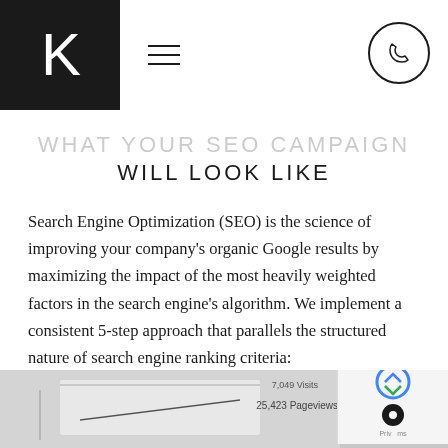K  ≡  [phone icon]
WHAT YOUR SEO CAMPAIGN WILL LOOK LIKE
Search Engine Optimization (SEO) is the science of improving your company's organic Google results by maximizing the impact of the most heavily weighted factors in the search engine's algorithm. We implement a consistent 5-step approach that parallels the structured nature of search engine ranking criteria:
[Figure (photo): Partial view of a screen or tablet showing analytics data with text '7,049 Visits' and '25,423 Pageviews' visible]